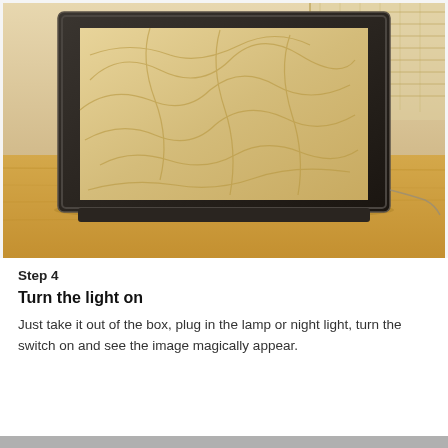[Figure (photo): A photograph of a framed lithophane panel (a translucent panel with an embossed image) standing upright on a wooden surface. The frame is dark/black, and the panel inside appears beige/tan with faint swirling line patterns visible. Background shows wooden furniture and a window with blinds.]
Step 4
Turn the light on
Just take it out of the box, plug in the lamp or night light, turn the switch on and see the image magically appear.